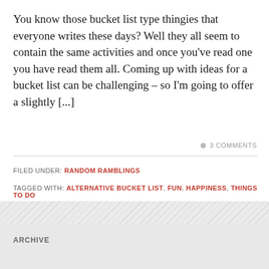You know those bucket list type thingies that everyone writes these days? Well they all seem to contain the same activities and once you've read one you have read them all. Coming up with ideas for a bucket list can be challenging – so I'm going to offer a slightly [...]
3 COMMENTS
FILED UNDER: RANDOM RAMBLINGS
TAGGED WITH: ALTERNATIVE BUCKET LIST, FUN, HAPPINESS, THINGS TO DO
ARCHIVE